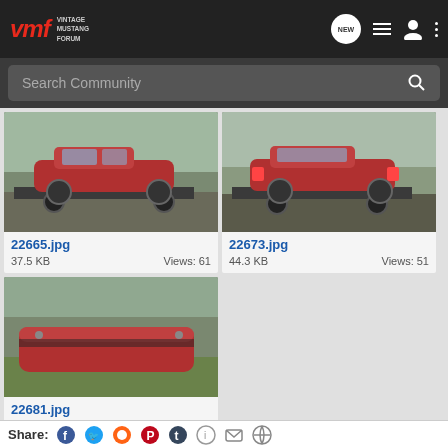VMF Vintage Mustang Forum
Search Community
[Figure (photo): Red vintage Mustang on a trailer, front-side view, outdoors]
22665.jpg
37.5 KB    Views: 61
[Figure (photo): Red vintage Mustang on a trailer, rear-side view, outdoors]
22673.jpg
44.3 KB    Views: 51
[Figure (photo): Red vintage Mustang body/bumper on grass]
22681.jpg
44.6 KB    Views: 46
Share: